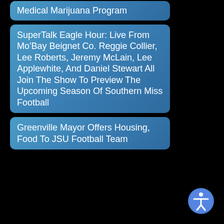Medical Marijuana Program
SuperTalk Eagle Hour: Live From Mo'Bay Beignet Co. Reggie Collier, Lee Roberts, Jeremy McLain, Lee Applewhite, And Daniel Stewart All Join The Show To Preview The Upcoming Season Of Southern Miss Football
Greenville Mayor Offers Housing, Food To JSU Football Team
[Figure (illustration): Accessibility icon button - circular blue button with white universal accessibility symbol (person with outstretched arms in circle)]